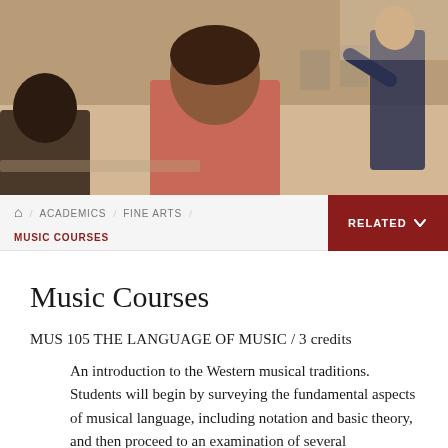[Figure (photo): Classroom scene showing students from behind seated at desks; an instructor stands at the front gesturing]
🏠 / ACADEMICS / FINE ARTS / MUSIC COURSES | RELATED ▾
Music Courses
MUS 105 THE LANGUAGE OF MUSIC / 3 credits
An introduction to the Western musical traditions. Students will begin by surveying the fundamental aspects of musical language, including notation and basic theory, and then proceed to an examination of several compositions, ranging from symphonies and